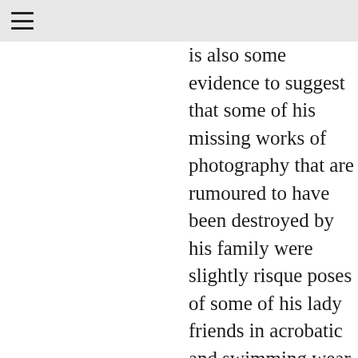is also some evidence to suggest that some of his missing works of photography that are rumoured to have been destroyed by his family were slightly risque poses of some of his lady friends in acrobatic and swimming wear. These